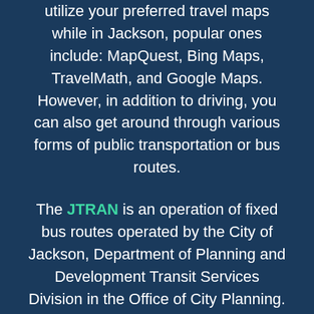utilize your preferred travel maps while in Jackson, popular ones include: MapQuest, Bing Maps, TravelMath, and Google Maps. However, in addition to driving, you can also get around through various forms of public transportation or bus routes.
The JTRAN is an operation of fixed bus routes operated by the City of Jackson, Department of Planning and Development Transit Services Division in the Office of City Planning. It provides both fixed-route and demand-responsive bus services throughout Jackson. Bus stops are located in about one-quarter mile intervals along each